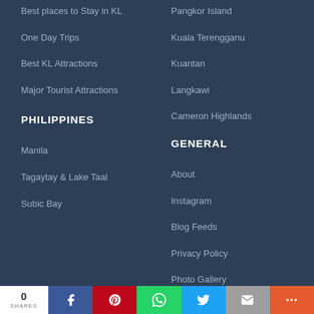Pangkor Island
Best places to Stay in KL
Kuala Terengganu
One Day Trips
Kuantan
Best KL Attractions
Langkawi
Major Tourist Attractions
Cameron Highlands
PHILIPPINES
GENERAL
Manila
About
Tagaytay & Lake Taal
Instagram
Subic Bay
Blog Feeds
Privacy Policy
Photo Gallery
RideSharing App
0 SHARES | Facebook | Pinterest | WhatsApp | Twitter | Email | More